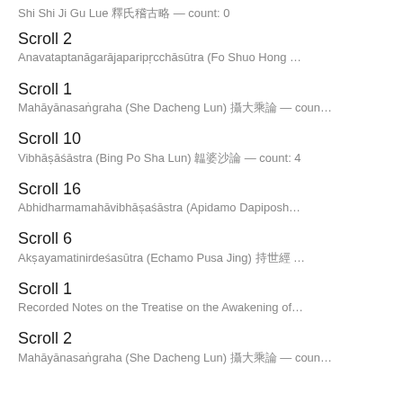Shi Shi Ji Gu Lue 釋氏稽古略 — count: 0
Scroll 2
Anavataptanāgarājaparipṛcchāsūtra (Fo Shuo Hong …
Scroll 1
Mahāyānasaṅgraha (She Dacheng Lun) 攝大乘論 — coun…
Scroll 10
Vibhāṣāśāstra (Bing Po Sha Lun) 鞞婆沙論 — count: 4
Scroll 16
Abhidharmamahāvibhāṣaśāstra (Apidamo Dapiposh…
Scroll 6
Akṣayamatinirdeśasūtra (Echamo Pusa Jing) 持世經 …
Scroll 1
Recorded Notes on the Treatise on the Awakening of…
Scroll 2
Mahāyānasaṅgraha (She Dacheng Lun) 攝大乘論 — coun…